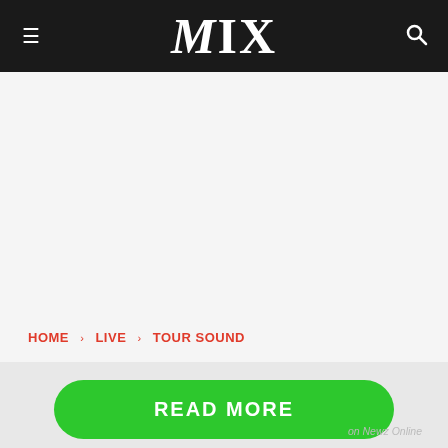MIX
[Figure (other): Empty advertisement area / white space]
HOME › LIVE › TOUR SOUND
READ MORE on Newz Online